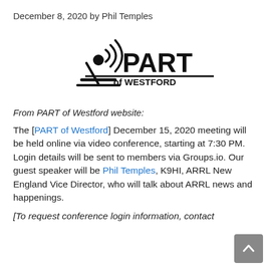December 8, 2020 by Phil Temples
[Figure (logo): PART of Westford logo — a radio antenna with signal waves and the text PART of WESTFORD]
From PART of Westford website:
The [PART of Westford] December 15, 2020 meeting will be held online via video conference, starting at 7:30 PM. Login details will be sent to members via Groups.io. Our guest speaker will be Phil Temples, K9HI, ARRL New England Vice Director, who will talk about ARRL news and happenings.
[To request conference login information, contact